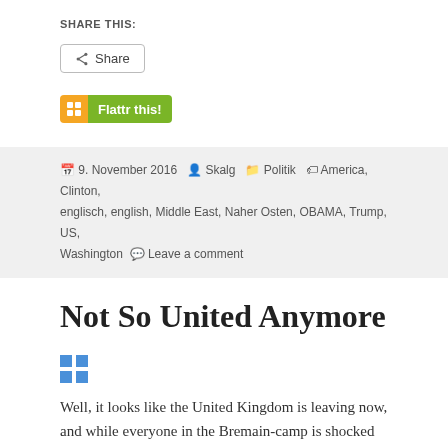SHARE THIS:
[Figure (other): Share button with share icon]
[Figure (other): Flattr this! button]
9. November 2016 · Skalg · Politik · America, Clinton, englisch, english, Middle East, Naher Osten, OBAMA, Trump, US, Washington · Leave a comment
Not So United Anymore
[Figure (other): Small blue grid/share icons (2x2 squares)]
Well, it looks like the United Kingdom is leaving now, and while everyone in the Bremain-camp is shocked and worried, the shocking and worrying has only begun. The next three to five years will be full of uncertainty and interesting possibilities…